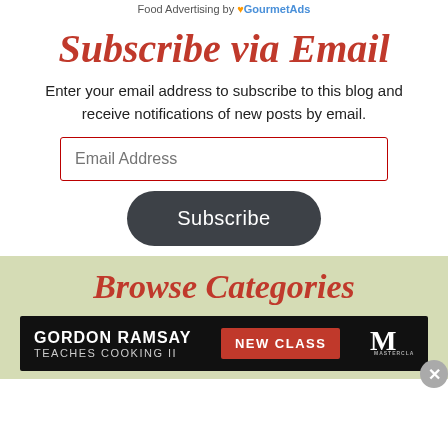Food Advertising by GourmetAds
Subscribe via Email
Enter your email address to subscribe to this blog and receive notifications of new posts by email.
Browse Categories
[Figure (screenshot): Gordon Ramsay Teaches Cooking II — New Class — MasterClass advertisement banner]